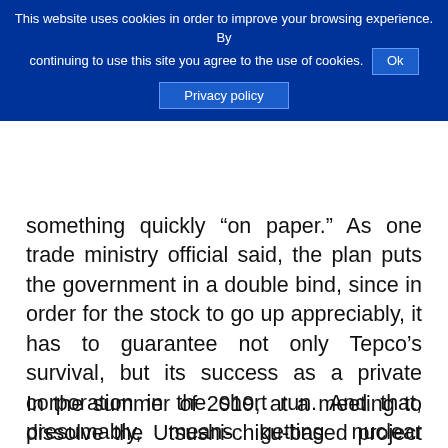This website uses cookies in order to improve your browsing experience. By continuing to use this site you agree to the use of cookies. Ok Privacy policy
something quickly “on paper.” As one trade ministry official said, the plan puts the government in a double bind, since in order for the stock to go up appreciably, it has to guarantee not only Tepco’s survival, but its success as a private corporation in the short run. And that, presumably, means getting nuclear power plants back online as soon as possible, a task that has run up against a wall of public opposition in the wake of the Fukushima disaster.
In the summer of 2019, at a meeting to dissolve the Utsushi-chiku-based project team, the deputy